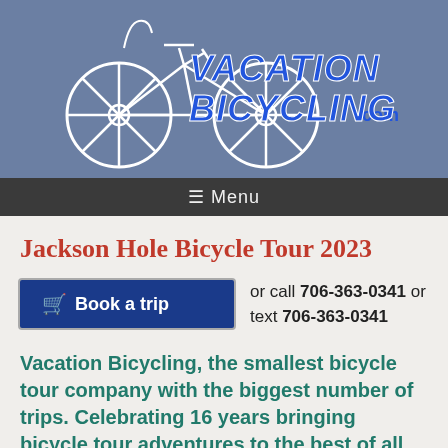[Figure (logo): VacationBicycling.com logo with a white bicycle illustration on a steel blue background and stylized blue text reading VACATION BICYCLING.com]
☰ Menu
Jackson Hole Bicycle Tour 2023
[Figure (other): Dark blue 'Book a trip' button with a shopping cart icon]
or call 706-363-0341 or text 706-363-0341
Vacation Bicycling, the smallest bicycle tour company with the biggest number of trips. Celebrating 16 years bringing bicycle tour adventures to the best of all 50 states, where will you go next?
2023